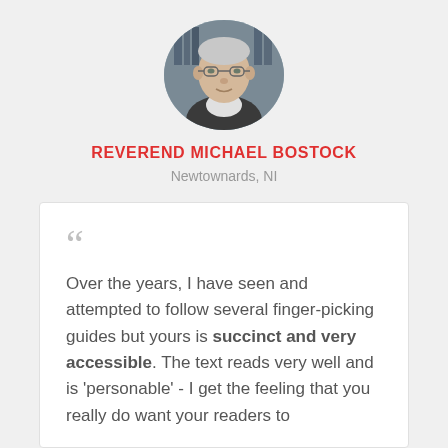[Figure (photo): Circular profile photo of Reverend Michael Bostock, an elderly man with glasses, in front of bookshelves]
REVEREND MICHAEL BOSTOCK
Newtownards, NI
“ Over the years, I have seen and attempted to follow several finger-picking guides but yours is succinct and very accessible. The text reads very well and is 'personable' - I get the feeling that you really do want your readers to